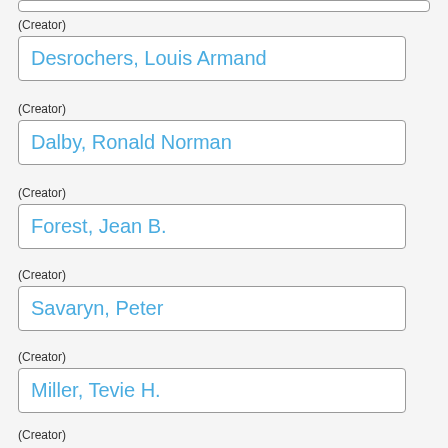(Creator)
Desrochers, Louis Armand
(Creator)
Dalby, Ronald Norman
(Creator)
Forest, Jean B.
(Creator)
Savaryn, Peter
(Creator)
Miller, Tevie H.
(Creator)